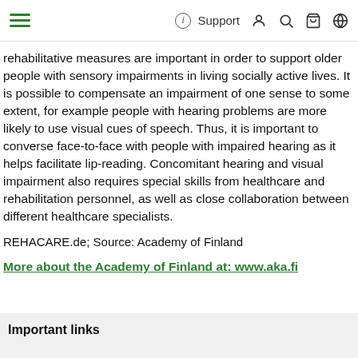Support
rehabilitative measures are important in order to support older people with sensory impairments in living socially active lives. It is possible to compensate an impairment of one sense to some extent, for example people with hearing problems are more likely to use visual cues of speech. Thus, it is important to converse face-to-face with people with impaired hearing as it helps facilitate lip-reading. Concomitant hearing and visual impairment also requires special skills from healthcare and rehabilitation personnel, as well as close collaboration between different healthcare specialists.
REHACARE.de; Source: Academy of Finland
More about the Academy of Finland at: www.aka.fi
Important links